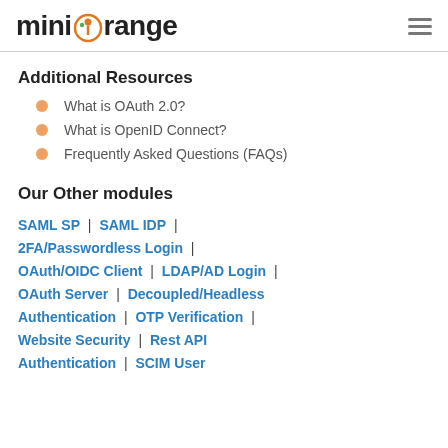miniOrange
Additional Resources
What is OAuth 2.0?
What is OpenID Connect?
Frequently Asked Questions (FAQs)
Our Other modules
SAML SP | SAML IDP | 2FA/Passwordless Login | OAuth/OIDC Client | LDAP/AD Login | OAuth Server | Decoupled/Headless Authentication | OTP Verification | Website Security | Rest API Authentication | SCIM User